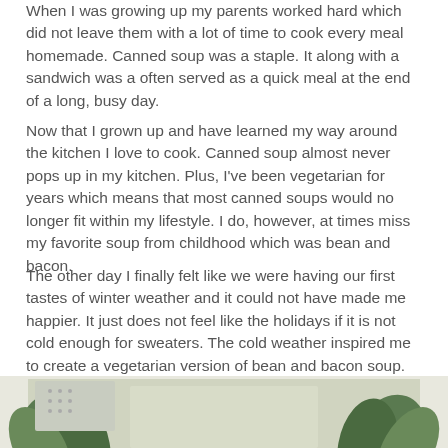When I was growing up my parents worked hard which did not leave them with a lot of time to cook every meal homemade. Canned soup was a staple. It along with a sandwich was a often served as a quick meal at the end of a long, busy day.
Now that I grown up and have learned my way around the kitchen I love to cook. Canned soup almost never pops up in my kitchen. Plus, I've been vegetarian for years which means that most canned soups would no longer fit within my lifestyle. I do, however, at times miss my favorite soup from childhood which was bean and bacon.
The other day I finally felt like we were having our first tastes of winter weather and it could not have made me happier. It just does not feel like the holidays if it is not cold enough for sweaters. The cold weather inspired me to create a vegetarian version of bean and bacon soup. There is nothing better than soup on a chilly day. This soup is no fuss, easy to make, delicious, and I promise you will not miss the bacon.
[Figure (photo): Partial view of a plant/foliage photo strip at the bottom of the page, showing green leaves against a light background.]